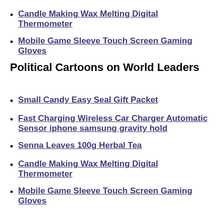Candle Making Wax Melting Digital Thermometer
Mobile Game Sleeve Touch Screen Gaming Gloves
Political Cartoons on World Leaders
Small Candy Easy Seal Gift Packet
Fast Charging Wireless Car Charger Automatic Sensor iphone samsung gravity hold
Senna Leaves 100g Herbal Tea
Candle Making Wax Melting Digital Thermometer
Mobile Game Sleeve Touch Screen Gaming Gloves